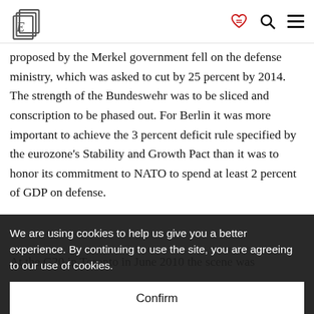EconomicsE logo, heart icon, search icon, menu icon
proposed by the Merkel government fell on the defense ministry, which was asked to cut by 25 percent by 2014. The strength of the Bundeswehr was to be sliced and conscription to be phased out. For Berlin it was more important to achieve the 3 percent deficit rule specified by the eurozone's Stability and Growth Pact than it was to honor its commitment to NATO to spend at least 2 percent of GDP on defense.
We are using cookies to help us give you a better experience. By continuing to use the site, you are agreeing to our use of cookies.
Confirm
At the G20 in Toronto in June 2010 the scene was
Obama published an open letter calling for fiscal